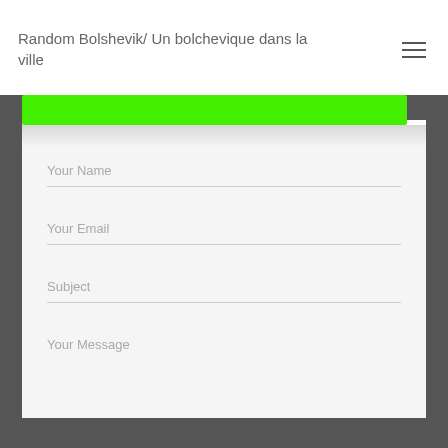Random Bolshevik/ Un bolchevique dans la ville
[Figure (screenshot): Contact form with fields for Your Name, Your Email, Subject, and Your Message on a dark background with a white/light grey form area and a bright green button at the top]
Your Name
Your Email
Subject
Your Message